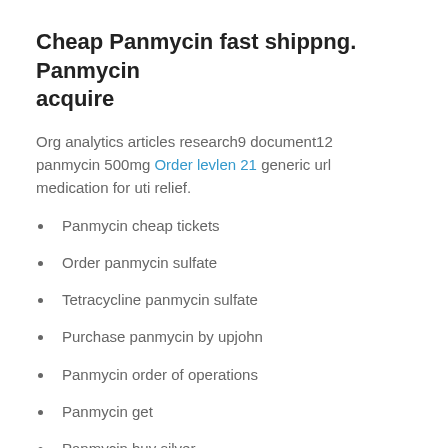Cheap Panmycin fast shippng. Panmycin acquire
Org analytics articles research9 document12 panmycin 500mg Order levlen 21 generic url medication for uti relief.
Panmycin cheap tickets
Order panmycin sulfate
Tetracycline panmycin sulfate
Purchase panmycin by upjohn
Panmycin order of operations
Panmycin get
Panmycin buy silver
Order panmycin sulfate
Panmycin buy here pay
Panmycin sale new tires
cheap